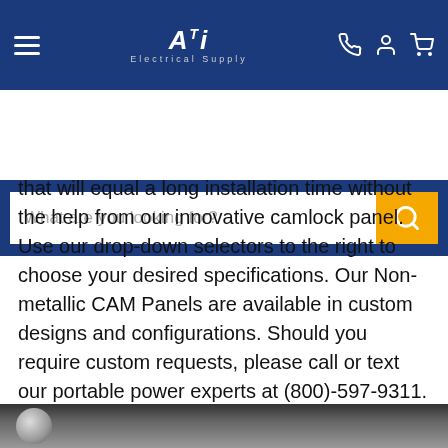ATi Electrical Supply — navigation header with hamburger menu, logo, phone, account, and cart icons
[Figure (screenshot): Search bar with placeholder text 'What are you looking for?' and an orange search button with magnifying glass icon]
that will equal a long installation time without the help from our innovative camlock panel. Use our drop-down selectors to the right to choose your desired specifications. Our Non-metallic CAM Panels are available in custom designs and configurations. Should you require custom requests, please call or text our portable power experts at (800)-597-9311. We also stock a variety of portable power products that come assembled and ready to go with camlock panels such as automatic transfer switches, generator docking stations, camlock connection boxes, camlock disconnect safety switches, and more! Specifications: 400 Amp Male Threaded Post 4 Position CAM Lock Panel.
[Figure (photo): Partial view of a product image at the bottom of the page, showing a rounded/circular object against a dark background]